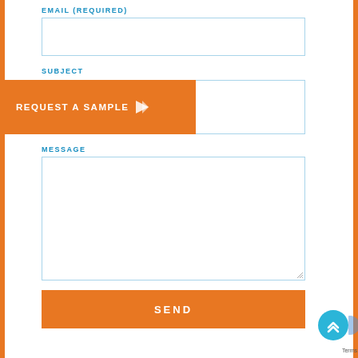EMAIL (REQUIRED)
[Figure (other): Email input text field, empty, with light blue border]
SUBJECT
[Figure (other): Orange banner overlay with text REQUEST A SAMPLE and icon]
[Figure (other): Subject input text field, empty, with light blue border]
MESSAGE
[Figure (other): Message textarea input, empty, with light blue border and resize handle]
[Figure (other): Orange SEND button]
[Figure (other): Circular blue scroll-to-top button with chevron arrows]
Terms